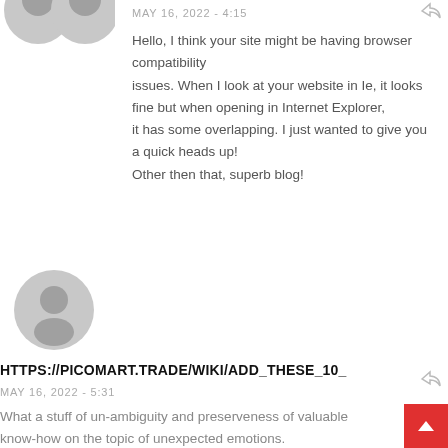[Figure (illustration): Two partial avatar silhouettes (user profile icons) cropped at top-left corner]
MAY 16, 2022 - 4:15
Hello, I think your site might be having browser compatibility issues. When I look at your website in Ie, it looks fine but when opening in Internet Explorer, it has some overlapping. I just wanted to give you a quick heads up! Other then that, superb blog!
[Figure (illustration): Gray circular avatar/profile icon placeholder]
HTTPS://PICOMART.TRADE/WIKI/ADD_THESE_10_
MAY 16, 2022 - 5:31
What a stuff of un-ambiguity and preserveness of valuable know-how on the topic of unexpected emotions.